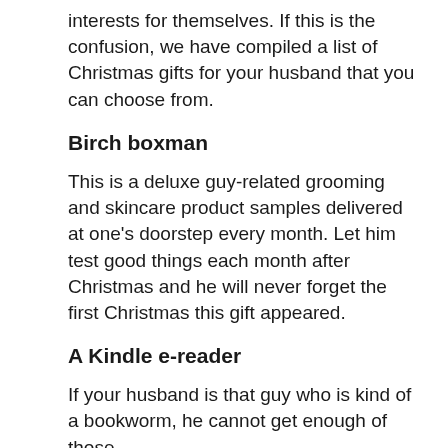interests for themselves. If this is the confusion, we have compiled a list of Christmas gifts for your husband that you can choose from.
Birch boxman
This is a deluxe guy-related grooming and skincare product samples delivered at one’s doorstep every month. Let him test good things each month after Christmas and he will never forget the first Christmas this gift appeared.
A Kindle e-reader
If your husband is that guy who is kind of a bookworm, he cannot get enough of those